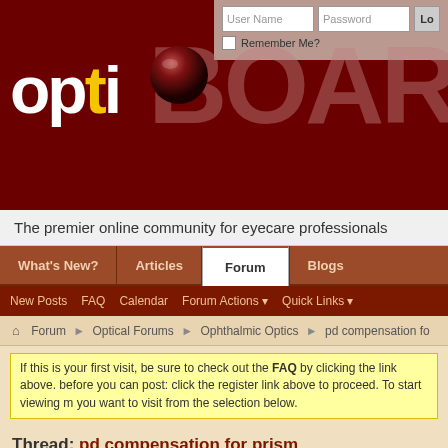[Figure (screenshot): OptiBOARD website header logo with dark red background, 'opti' in white bold text with yellow dot, 'BOARD' in large faded letters, and a dark red sphere/ball graphic]
The premier online community for eyecare professionals
What's New?  Articles  Forum  Blogs
New Posts  FAQ  Calendar  Forum Actions  Quick Links
Forum > Optical Forums > Ophthalmic Optics > pd compensation fo
If this is your first visit, be sure to check out the FAQ by clicking the link above. before you can post: click the register link above to proceed. To start viewing m you want to visit from the selection below.
Thread: pd compensation for prism
04-19-2022, 11:30 AM
Randle Tibbs, ABOM
pd compensation for prism